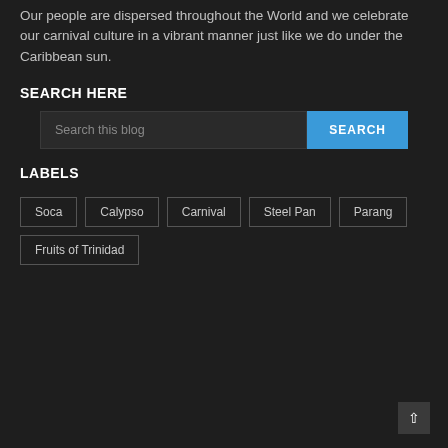Our people are dispersed throughout the World and we celebrate our carnival culture in a vibrant manner just like we do under the Caribbean sun.
SEARCH HERE
Search this blog
LABELS
Soca
Calypso
Carnival
Steel Pan
Parang
Fruits of Trinidad